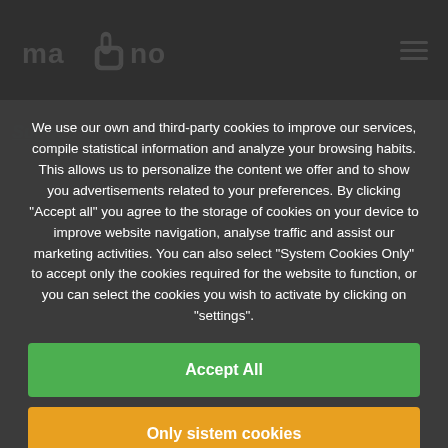mano [logo with hand icon]
Suggestions to improve the efficiency of
We use our own and third-party cookies to improve our services, compile statistical information and analyze your browsing habits. This allows us to personalize the content we offer and to show you advertisements related to your preferences. By clicking "Accept all" you agree to the storage of cookies on your device to improve website navigation, analyse traffic and assist our marketing activities. You can also select "System Cookies Only" to accept only the cookies required for the website to function, or you can select the cookies you wish to activate by clicking on "settings".
Accept All
Only sistem cookies
Configuration